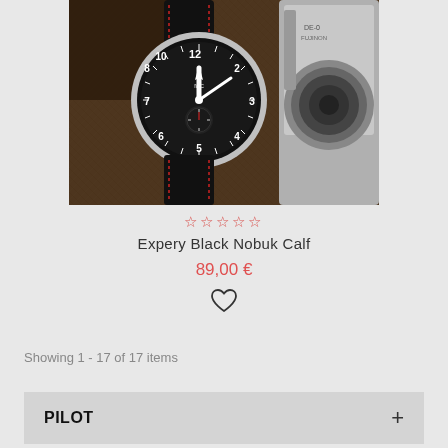[Figure (photo): A pilot/aviator style watch with black dial and black leather strap with red stitching, placed next to a camera lens on a burlap surface]
☆☆☆☆☆
Expery Black Nobuk Calf
89,00 €
[Figure (illustration): Heart/wishlist icon]
Showing 1 - 17 of 17 items
PILOT +